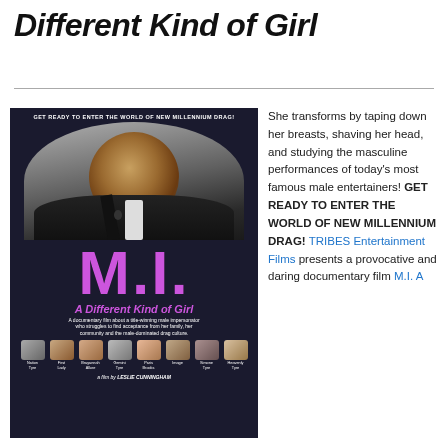Different Kind of Girl
[Figure (photo): Movie poster for M.I. A Different Kind of Girl - a documentary film about a title-winning male impersonator who struggles to find acceptance from her family, her community and the male-dominated drag culture. Features large M.I. text in white and purple, with cast photos at bottom including Nation Tyre, First Lady, Brayannah Allure, Gemini Tyre, Paris Brooks, Image, Simone Tyre, Heavenly Tyre. Directed by Leslie Cunningham.]
She transforms by taping down her breasts, shaving her head, and studying the masculine performances of today's most famous male entertainers! GET READY TO ENTER THE WORLD OF NEW MILLENNIUM DRAG! TRIBES Entertainment Films presents a provocative and daring documentary film M.I. A